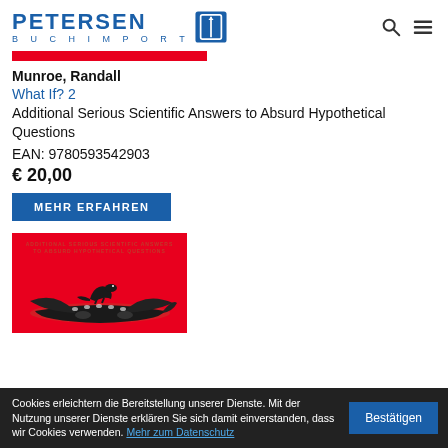PETERSEN BUCHIMPORT
Munroe, Randall
What If? 2
Additional Serious Scientific Answers to Absurd Hypothetical Questions
EAN: 9780593542903
€ 20,00
MEHR ERFAHREN
[Figure (illustration): Book cover of 'What If? 2' — red background with small white/dark text at top reading 'ADDITIONAL SERIOUS SCIENTIFIC ANSWERS TO ABSURD HYPOTHETICAL QUESTIONS', and a dinosaur silhouette riding on top of an airplane illustration.]
Cookies erleichtern die Bereitstellung unserer Dienste. Mit der Nutzung unserer Dienste erklären Sie sich damit einverstanden, dass wir Cookies verwenden. Mehr zum Datenschutz
Bestätigen